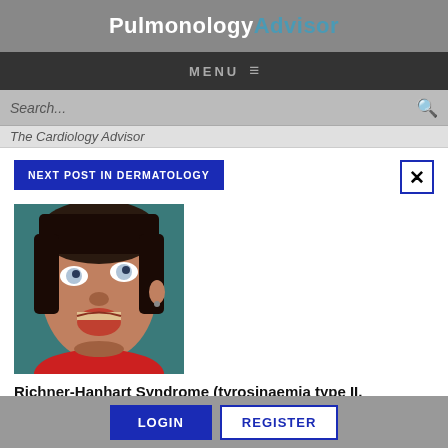PulmonologyAdvisor
MENU
Search...
The Cardiology Advisor
NEXT POST IN DERMATOLOGY
[Figure (photo): Close-up photo of a child's face with open mouth and unusual eye appearance, associated with Richner-Hanhart Syndrome]
Richner-Hanhart Syndrome (tyrosinaemia type II, oculocutaneous tyrosinaemia)
LOGIN   REGISTER